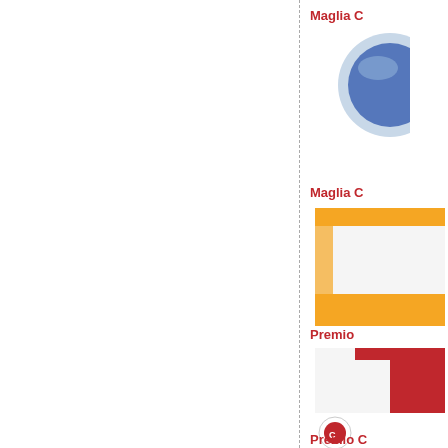Maglia C
[Figure (illustration): Circular blue and grey cycling jersey logo/icon, partially visible, clipped at right edge]
Maglia C
[Figure (illustration): Yellow and white cycling jersey with yellow accents, partially visible, clipped at right edge]
Premio
[Figure (illustration): White and red cycling jersey with red panel, partially visible, clipped at right edge; small circular red award badge below]
Premio C